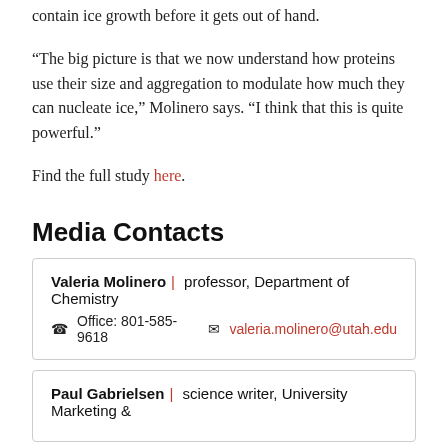contain ice growth before it gets out of hand.
“The big picture is that we now understand how proteins use their size and aggregation to modulate how much they can nucleate ice,” Molinero says. “I think that this is quite powerful.”
Find the full study here.
Media Contacts
| Valeria Molinero | professor, Department of Chemistry | Office: 801-585-9618 | valeria.molinero@utah.edu |
| Paul Gabrielsen | science writer, University Marketing & |